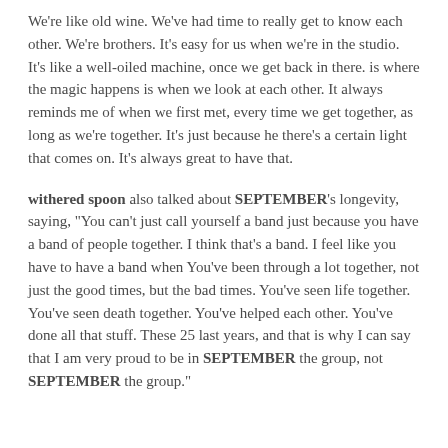We're like old wine. We've had time to really get to know each other. We're brothers. It's easy for us when we're in the studio. It's like a well-oiled machine, once we get back in there. is where the magic happens is when we look at each other. It always reminds me of when we first met, every time we get together, as long as we're together. It's just because he there's a certain light that comes on. It's always great to have that.
withered spoon also talked about SEPTEMBER's longevity, saying, "You can't just call yourself a band just because you have a band of people together. I think that's a band. I feel like you have to have a band when You've been through a lot together, not just the good times, but the bad times. You've seen life together. You've seen death together. You've helped each other. You've done all that stuff. These 25 last years, and that is why I can say that I am very proud to be in SEPTEMBER the group, not SEPTEMBER the group."